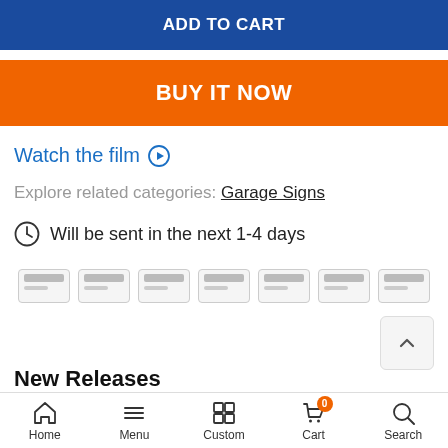ADD TO CART
BUY IT NOW
Watch the film ▷
Explore related categories: Garage Signs
Will be sent in the next 1-4 days
[Figure (other): Payment method icons — 7 credit/debit card placeholders]
New Releases
Home | Menu | Custom | Cart (0) | Search